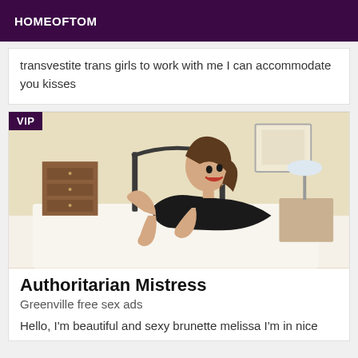HOMEOFTOM
transvestite trans girls to work with me I can accommodate you kisses
[Figure (photo): A brunette woman in a black dress lying on a bed in a bedroom setting, with a VIP badge in the top left corner.]
Authoritarian Mistress
Greenville free sex ads
Hello, I'm beautiful and sexy brunette melissa I'm in nice